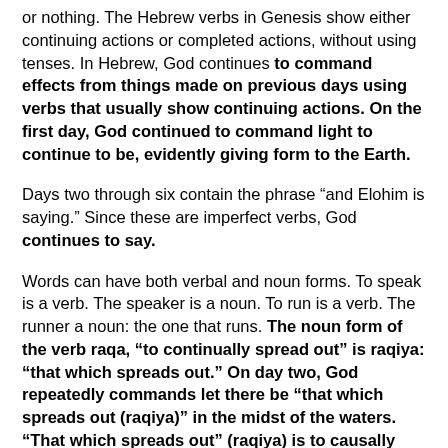or nothing. The Hebrew verbs in Genesis show either continuing actions or completed actions, without using tenses. In Hebrew, God continues to command effects from things made on previous days using verbs that usually show continuing actions. On the first day, God continued to command light to continue to be, evidently giving form to the Earth.
Days two through six contain the phrase “and Elohim is saying.” Since these are imperfect verbs, God continues to say.
Words can have both verbal and noun forms. To speak is a verb. The speaker is a noun. To run is a verb. The runner a noun: the one that runs. The noun form of the verb raqa, “to continually spread out” is raqiya: “that which spreads out.” On day two, God repeatedly commands let there be “that which spreads out (raqiya)” in the midst of the waters. “That which spreads out” (raqiya) is to causally divide waters from waters. Moses uses the word raqiya five times about day